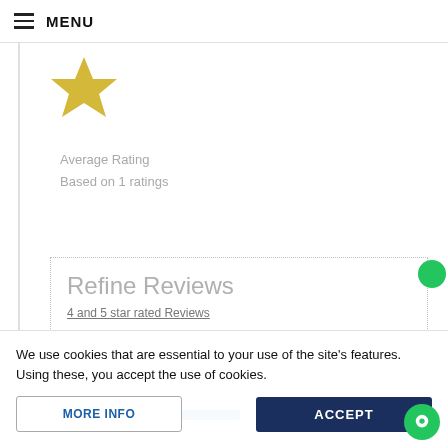MENU
[Figure (illustration): Yellow star icon representing a rating]
Average Rating
Based on 1 ratings
Refine Reviews
4 and 5 star rated Reviews
We use cookies that are essential to your use of the site's features. Using these, you accept the use of cookies.
MORE INFO
ACCEPT